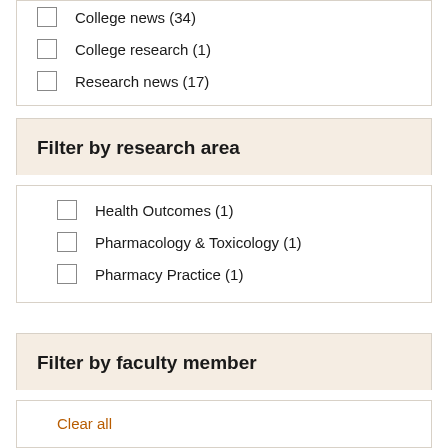College news (34)
College research (1)
Research news (17)
Filter by research area
Health Outcomes (1)
Pharmacology & Toxicology (1)
Pharmacy Practice (1)
Filter by faculty member
Clear all